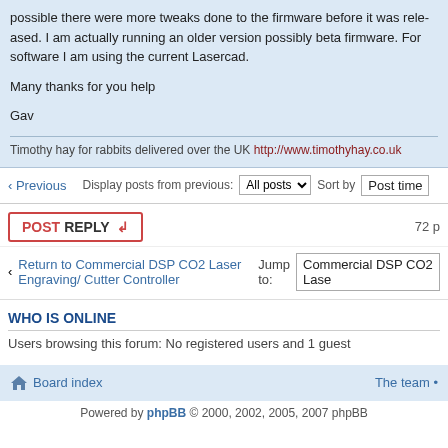possible there were more tweaks done to the firmware before it was rele... am actually running an older version possibly beta firmware. For software using the current Lasercad.
Many thanks for you help
Gav
Timothy hay for rabbits delivered over the UK http://www.timothyhay.co.uk
‹ Previous   Display posts from previous: All posts  Sort by Post time
POSTREPLY   72 p
‹ Return to Commercial DSP CO2 Laser Engraving/ Cutter Controller   Jump to: Commercial DSP CO2 Lase...
WHO IS ONLINE
Users browsing this forum: No registered users and 1 guest
Board index   The team •
Powered by phpBB © 2000, 2002, 2005, 2007 phpBB